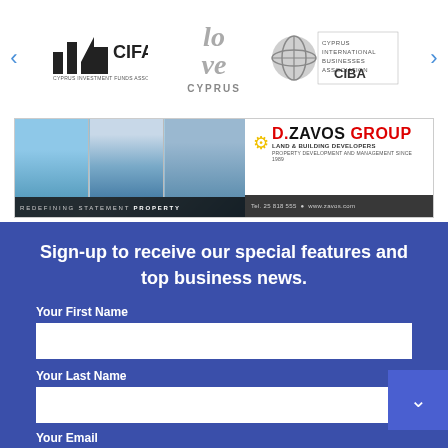[Figure (logo): CIFA Cyprus Investment Funds Association logo]
[Figure (logo): Love Cyprus logo]
[Figure (logo): CIBA Cyprus International Businesses Association logo]
[Figure (illustration): D. Zavos Group land and building developers banner advertisement with property images. Text: REDEFINING STATEMENT PROPERTY, Tel. 25 818 555, www.zavos.com]
Sign-up to receive our special features and top business news.
Your First Name
Your Last Name
Your Email